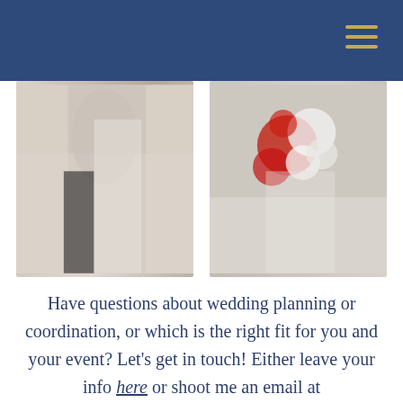[Figure (photo): Two wedding photos side by side: left shows a bride and groom embracing, bride in a lace off-shoulder gown; right shows a bride holding a cascading red and white floral bouquet.]
Have questions about wedding planning or coordination, or which is the right fit for you and your event? Let’s get in touch! Either leave your info here or shoot me an email at